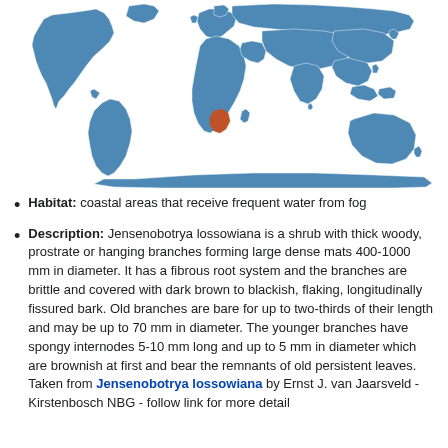[Figure (map): World map with countries shown in blue and a highlighted region in southern Africa (Namibia area) shown in orange/brown, indicating the native range of Jensenobotrya lossowiana.]
Habitat: coastal areas that receive frequent water from fog
Description: Jensenobotrya lossowiana is a shrub with thick woody, prostrate or hanging branches forming large dense mats 400-1000 mm in diameter. It has a fibrous root system and the branches are brittle and covered with dark brown to blackish, flaking, longitudinally fissured bark. Old branches are bare for up to two-thirds of their length and may be up to 70 mm in diameter. The younger branches have spongy internodes 5-10 mm long and up to 5 mm in diameter which are brownish at first and bear the remnants of old persistent leaves.
Taken from Jensenobotrya lossowiana by Ernst J. van Jaarsveld - Kirstenbosch NBG - follow link for more detail